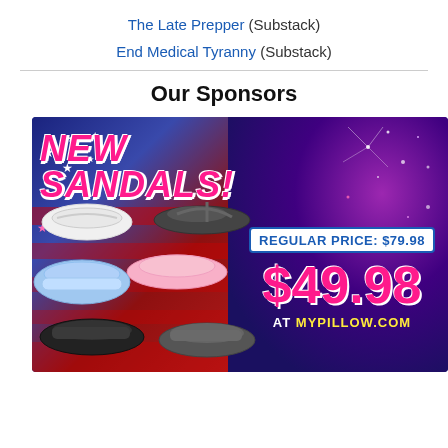The Late Prepper (Substack)
End Medical Tyranny (Substack)
Our Sponsors
[Figure (advertisement): MyPillow advertisement for NEW SANDALS! showing multiple sandal styles in white, pink, blue, black and dark gray colors against an American flag and patriotic purple/blue background with fireworks. Regular Price: $79.98, Sale Price: $49.98 at MYPILLOW.COM]